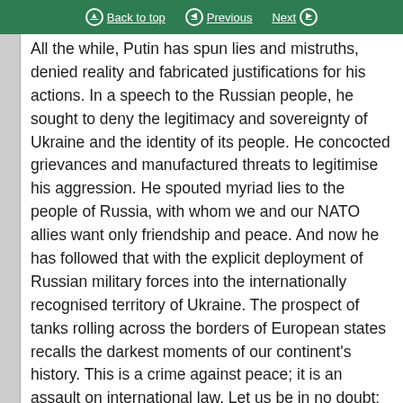Back to top | Previous | Next
All the while, Putin has spun lies and mistruths, denied reality and fabricated justifications for his actions. In a speech to the Russian people, he sought to deny the legitimacy and sovereignty of Ukraine and the identity of its people. He concocted grievances and manufactured threats to legitimise his aggression. He spouted myriad lies to the people of Russia, with whom we and our NATO allies want only friendship and peace. And now he has followed that with the explicit deployment of Russian military forces into the internationally recognised territory of Ukraine. The prospect of tanks rolling across the borders of European states recalls the darkest moments of our continent's history. This is a crime against peace; it is an assault on international law. Let us be in no doubt: Putin bears responsibility.